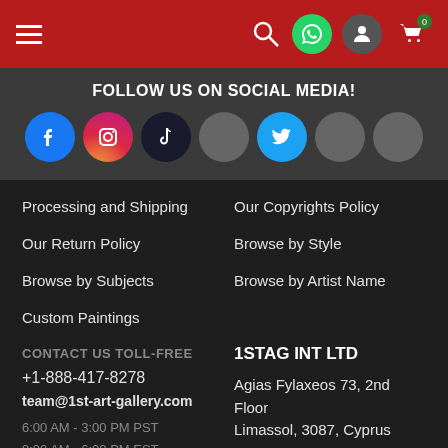Navigation bar with hamburger menu, search, WhatsApp, profile, and cart icons
FOLLOW US ON SOCIAL MEDIA!
[Figure (infographic): Row of social media icons: Facebook, Instagram, TikTok, grey placeholder, Twitter, grey placeholder, grey placeholder]
Processing and Shipping
Our Copyrights Policy
Our Return Policy
Browse by Style
Browse by Subjects
Browse by Artist Name
Custom Paintings
CONTACT US TOLL-FREE
+1-888-417-8278
team@1st-art-gallery.com
6:00 AM - 3:00 PM PST
9:00 AM - 6:00 PM EST
1STAG INT LTD
Agias Fylaxeos 73, 2nd Floor
Limassol, 3087, Cyprus